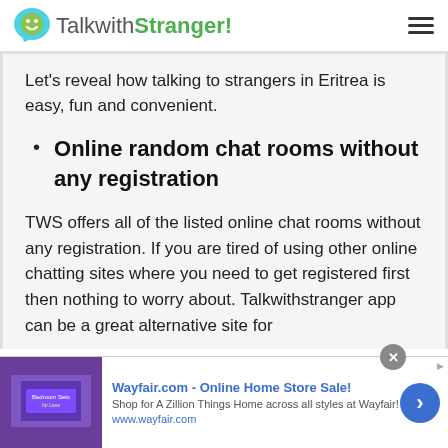TalkwithStranger!
Let's reveal how talking to strangers in Eritrea is easy, fun and convenient.
Online random chat rooms without any registration
TWS offers all of the listed online chat rooms without any registration. If you are tired of using other online chatting sites where you need to get registered first then nothing to worry about. Talkwithstranger app can be a great alternative site for...
[Figure (screenshot): Wayfair.com advertisement banner: Online Home Store Sale! Shop for A Zillion Things Home across all styles at Wayfair! www.wayfair.com, with bedroom image and navigation arrow.]